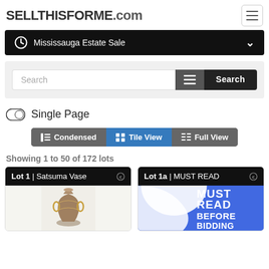SELLTHISFORME.com
Mississauga Estate Sale
Search
Single Page
Condensed  Tile View  Full View
Showing 1 to 50 of 172 lots
Lot 1 | Satsuma Vase
Lot 1a | MUST READ
[Figure (photo): Photo of a Satsuma-style decorative vase with golden handles and painted surface]
[Figure (infographic): Blue background with bold white text reading MUST READ BEFORE BIDDING]